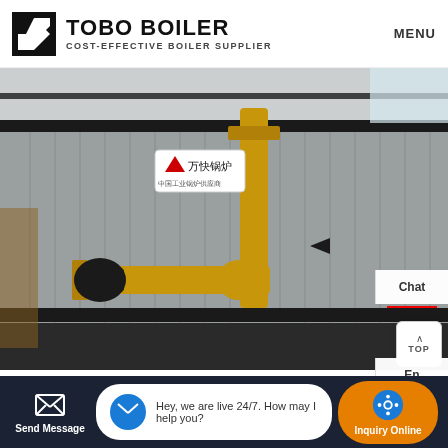TOBO BOILER COST-EFFECTIVE BOILER SUPPLIER MENU
[Figure (photo): Industrial gas boiler unit with yellow gas pipes and fittings, corrugated metal exterior panels, black structural frame, inside a factory/warehouse building. Chinese text signage visible on the boiler unit.]
Industrial Supplier 1 Ton Gas Boiler Moldavia
Send Message  Hey, we are live 24/7. How may I help you?  Inquiry Online